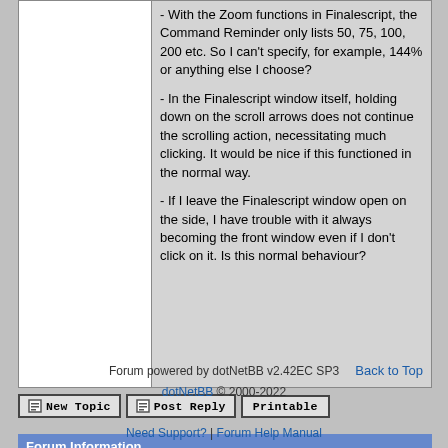- With the Zoom functions in Finalescript, the Command Reminder only lists 50, 75, 100, 200 etc. So I can't specify, for example, 144% or anything else I choose?

- In the Finalescript window itself, holding down on the scroll arrows does not continue the scrolling action, necessitating much clicking. It would be nice if this functioned in the normal way.

- If I leave the Finalescript window open on the side, I have trouble with it always becoming the front window even if I don't click on it. Is this normal behaviour?
Back to Top
New Topic  Post Reply  Printable
Forum Information
Currently it is Wednesday, August 31, 2022 10:44 AM (GMT -5)
There are a total of 403,820 posts in 58,165 threads.
In the last 3 days there were 0 new threads and 0 reply posts. View Active Threads
Forum powered by dotNetBB v2.42EC SP3
dotNetBB © 2000-2022
Need Support? | Forum Help Manual